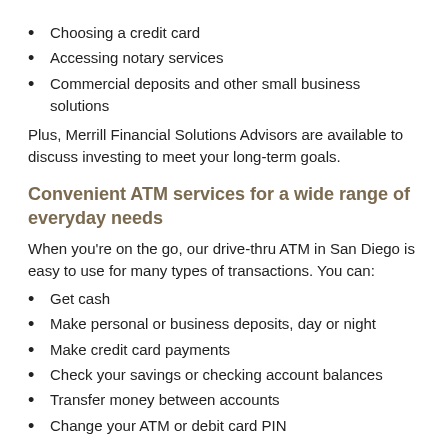Choosing a credit card
Accessing notary services
Commercial deposits and other small business solutions
Plus, Merrill Financial Solutions Advisors are available to discuss investing to meet your long-term goals.
Convenient ATM services for a wide range of everyday needs
When you’re on the go, our drive-thru ATM in San Diego is easy to use for many types of transactions. You can:
Get cash
Make personal or business deposits, day or night
Make credit card payments
Check your savings or checking account balances
Transfer money between accounts
Change your ATM or debit card PIN
You can also use a tap-to-pay card or a smartphone to make transactions at our cardless ATMs. To use a smartphone, just